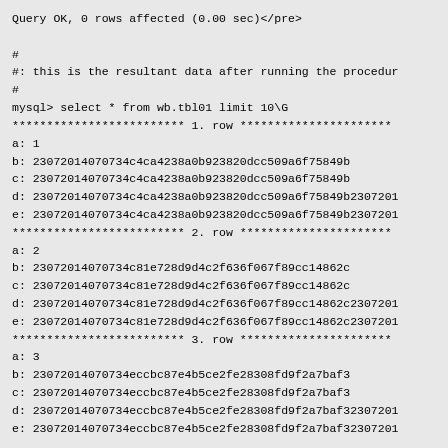Query OK, 0 rows affected (0.00 sec)</pre>

#
#: this is the resultant data after running the procedur
#
mysql> select * from wb.tbl01 limit 10\G
************************* 1. row **********************
a: 1
b: 23072014070734c4ca4238a0b923820dcc509a6f75849b
c: 23072014070734c4ca4238a0b923820dcc509a6f75849b
d: 23072014070734c4ca4238a0b923820dcc509a6f75849b2307201
e: 23072014070734c4ca4238a0b923820dcc509a6f75849b2307201
************************* 2. row **********************
a: 2
b: 23072014070734c81e728d9d4c2f636f067f89cc14862c
c: 23072014070734c81e728d9d4c2f636f067f89cc14862c
d: 23072014070734c81e728d9d4c2f636f067f89cc14862c2307201
e: 23072014070734c81e728d9d4c2f636f067f89cc14862c2307201
************************* 3. row **********************
a: 3
b: 23072014070734eccbc87e4b5ce2fe28308fd9f2a7baf3
c: 23072014070734eccbc87e4b5ce2fe28308fd9f2a7baf3
d: 23072014070734eccbc87e4b5ce2fe28308fd9f2a7baf32307201
e: 23072014070734eccbc87e4b5ce2fe28308fd9f2a7baf32307201